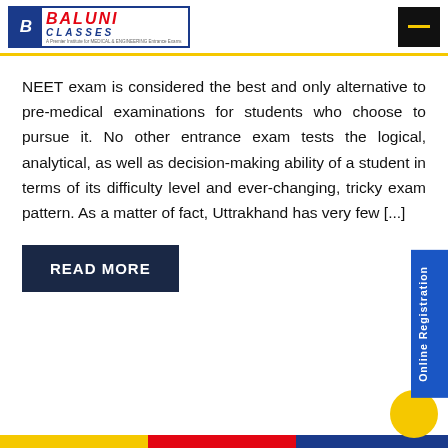[Figure (logo): Baluni Classes logo with red BALUNI text and blue CLASSES text, B emblem, and tagline about medical and engineering entrance exams]
NEET exam is considered the best and only alternative to pre-medical examinations for students who choose to pursue it. No other entrance exam tests the logical, analytical, as well as decision-making ability of a student in terms of its difficulty level and ever-changing, tricky exam pattern. As a matter of fact, Uttrakhand has very few [...]
READ MORE
Online Registration